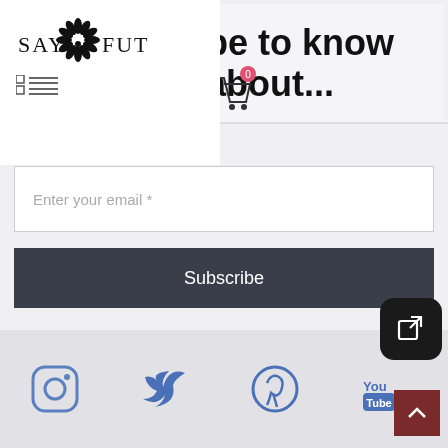[Figure (logo): SAYFUT logo with decorative floral/fan ornament between SAY and FUT text]
[Figure (screenshot): Navigation menu icon (grid+lines hamburger menu) and shopping cart icon with badge showing 0]
be to know about...
Enter your email *
Subscribe
[Figure (screenshot): Black rounded square button with share/edit icon (white square with arrow)]
Social media icons: Instagram, Twitter, Pinterest, YouTube
[Figure (screenshot): Back to top button (dark red square with upward chevron arrow)]